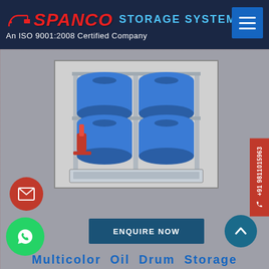SPANCO STORAGE SYSTEMS An ISO 9001:2008 Certified Company
[Figure (photo): Metal drum storage rack holding six blue oil drums in two tiers, with a red dispensing pump on the lower level and a drip tray at the bottom. The rack is galvanized steel frame construction.]
+91 9811015963
ENQUIRE NOW
Multicolor Oil Drum Storage